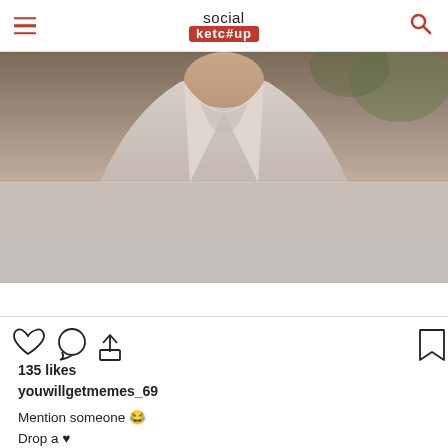social ketc#up
[Figure (photo): Screenshot of an Instagram post on Social Ketchup website. Shows a man in a white/light shirt from neck to waist, cropped photo. Below the photo is a gray placeholder area.]
View more on Instagram
135 likes
youwillgetmemes_69
Mention someone 😂
Drop a ♥
Follow for more 🙂😂
Share it with your friends📲📲📲
Support🙏